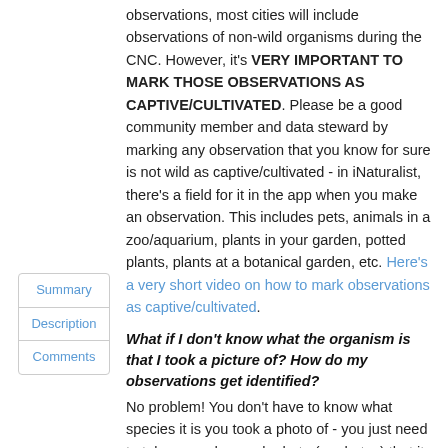observations, most cities will include observations of non-wild organisms during the CNC. However, it’s VERY IMPORTANT TO MARK THOSE OBSERVATIONS AS CAPTIVE/CULTIVATED. Please be a good community member and data steward by marking any observation that you know for sure is not wild as captive/cultivated - in iNaturalist, there’s a field for it in the app when you make an observation. This includes pets, animals in a zoo/aquarium, plants in your garden, potted plants, plants at a botanical garden, etc. Here’s a very short video on how to mark observations as captive/cultivated.
Summary
Description
Comments
What if I don’t know what the organism is that I took a picture of? How do my observations get identified?
No problem! You don’t have to know what species it is you took a photo of - you just need to take a good enough photo (or photos) that it can be identified (continue footnote and below). Th...